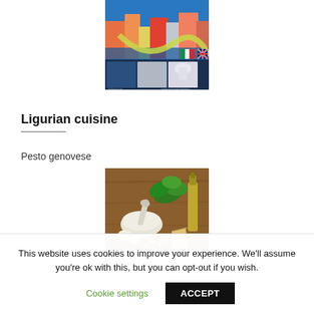[Figure (photo): Coastal Italian town (Portofino/Ligurian Riviera) tourism image with colorful buildings, harbor with boats, overlay of a road/path graphic, Italian and UK flags, and three smaller photos at bottom showing coastal and architectural scenes.]
Ligurian cuisine
Pesto genovese
[Figure (photo): Ingredients for pesto genovese: mortar and pestle, fresh basil leaves, garlic cloves, pine nuts, and a bottle of olive oil on a wooden surface.]
This website uses cookies to improve your experience. We'll assume you're ok with this, but you can opt-out if you wish.
Cookie settings
ACCEPT